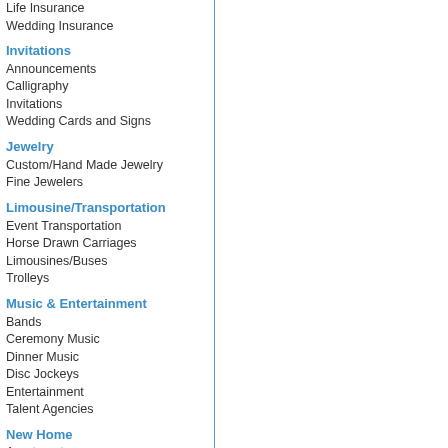Life Insurance
Wedding Insurance
Invitations
Announcements
Calligraphy
Invitations
Wedding Cards and Signs
Jewelry
Custom/Hand Made Jewelry
Fine Jewelers
Limousine/Transportation
Event Transportation
Horse Drawn Carriages
Limousines/Buses
Trolleys
Music & Entertainment
Bands
Ceremony Music
Dinner Music
Disc Jockeys
Entertainment
Talent Agencies
New Home
Apartments
Financing
Furnishings
Realtors
One Stop Wedding Shops
One Stop Wedding Shops
Photography
Engagement Photography
Photographers
Photography Locations
Receptions, Rehearsal Dinners & Bridal Showers
Bridal Showers
Engagement Parties
Reception Venues